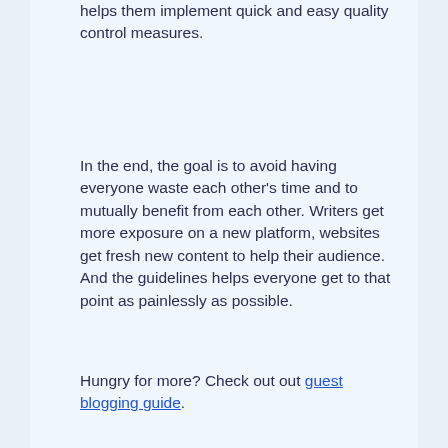helps them implement quick and easy quality control measures.
In the end, the goal is to avoid having everyone waste each other's time and to mutually benefit from each other. Writers get more exposure on a new platform, websites get fresh new content to help their audience. And the guidelines helps everyone get to that point as painlessly as possible.
Hungry for more? Check out out guest blogging guide.